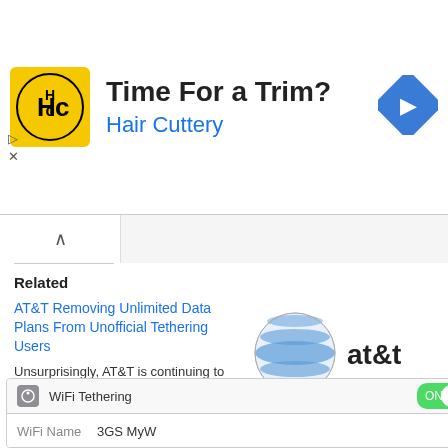[Figure (photo): Hair Cuttery advertisement banner with logo, 'Time For a Trim?' headline, 'Hair Cuttery' blue subtext, and a blue navigation arrow icon on the right]
Related
AT&T Removing Unlimited Data Plans From Unofficial Tethering Users
Unsurprisingly, AT&T is continuing to actively pursue users who partake in unofficial tethering methods by means of a
[Figure (photo): AT&T logo with globe and 'at&t' text, with caption 'is going to charge you $45/m for unofficially tethering your i']
AT&T Auto-Updating Unauthorized iPhone Tethering Accounts to Paid Tether Plans
[Figure (screenshot): iPhone WiFi Tethering settings screen showing WiFi Tethering ON toggle and WiFi Name: 3GS MyW]